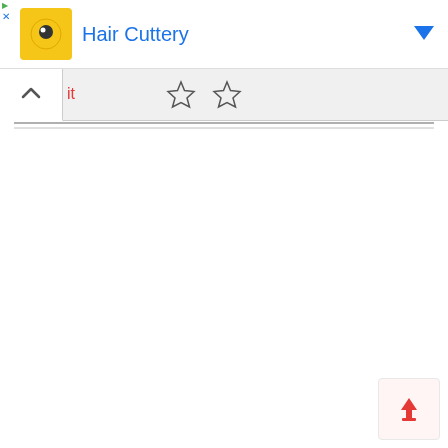[Figure (screenshot): Mobile browser UI screenshot showing Hair Cuttery ad banner at top with yellow icon and blue title text, a toolbar with chevron up button and red partially visible text 'it', two star/bookmark icons, horizontal separator lines, and an upload button in the bottom right corner]
Hair Cuttery